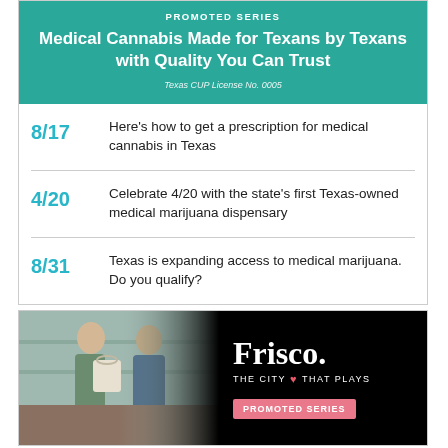[Figure (infographic): Promoted series banner with teal background: PROMOTED SERIES label, title 'Medical Cannabis Made for Texans by Texans with Quality You Can Trust', Texas CUP License No. 0005]
8/17 Here's how to get a prescription for medical cannabis in Texas
4/20 Celebrate 4/20 with the state's first Texas-owned medical marijuana dispensary
8/31 Texas is expanding access to medical marijuana. Do you qualify?
[Figure (photo): Frisco - The City That Plays advertisement. Photo of two women at a shop counter with a tote bag. Black background with Frisco logo and 'Promoted Series' pink button.]